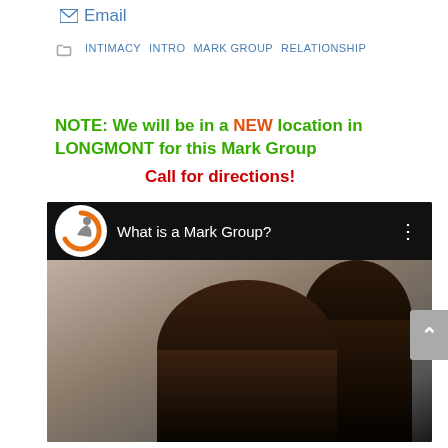Email
INTIMACY   INTRO   MARK GROUP   RELATIONSHIP
NOTE: We will be in a NEW location in LONGMONT for this Mark Group
Call for directions!
[Figure (screenshot): Video thumbnail with title 'What is a Mark Group?' showing a black top bar with logo, title text, and a thumbnail image of two people]